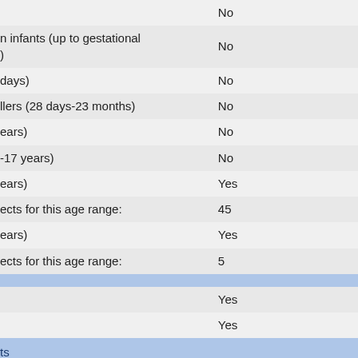| Category | Value |
| --- | --- |
|  | No |
| n infants (up to gestational ) | No |
|  days) | No |
| llers (28 days-23 months) | No |
| ears) | No |
| -17 years) | No |
| ears) | Yes |
| ects for this age range: | 45 |
| ears) | Yes |
| ects for this age range: | 5 |
|  |  |
|  | Yes |
|  | Yes |
| ts |  |
| ers | No |
|  | Yes |
| ble populations | Yes |